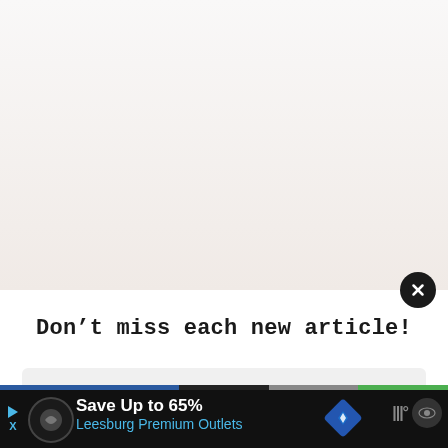[Figure (screenshot): Large light-colored content area with pinkish-white gradient background, representing a scrolled document or article area]
[Figure (other): Dark circular close/dismiss button with white X icon]
Don’t miss each new article!
[Figure (screenshot): Light gray rounded input box for email address entry with placeholder text 'Email Address...']
[Figure (other): Bottom advertisement bar showing 'Save Up to 65% Leesburg Premium Outlets' with play button, logo circle, and navigation arrow icons on dark background]